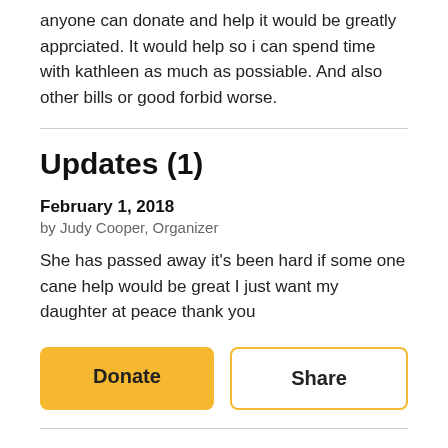anyone can donate and help it would be greatly apprciated. It would help so i can spend time with kathleen as much as possiable. And also other bills or good forbid worse.
Updates (1)
February 1, 2018
by Judy Cooper, Organizer
She has passed away it's been hard if some one cane help would be great I just want my daughter at peace thank you